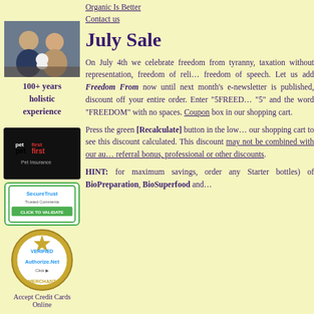[Figure (photo): Photo of a man and woman with a small white dog]
100+ years holistic experience
Organic Is Better
Contact us
July Sale
[Figure (logo): petfirst Pet Insurance logo]
On July 4th we celebrate freedom from tyranny, taxation without representation, freedom of religion, freedom of speech. Let us add Freedom From now until next month's e-newsletter is published, discount off your entire order. Enter "5FREEDOM" "5" and the word "FREEDOM" with no spaces. Coupon box in our shopping cart.
[Figure (logo): SecureTrust Trusted Commerce - Click to Validate badge]
Press the green [Recalculate] button in the lower our shopping cart to see this discount calculated. This discount may not be combined with our auto referral bonus, professional or other discounts.
[Figure (logo): Authorize.Net Verified Merchant badge]
Accept Credit Cards Online
HINT: for maximum savings, order any Starter bottles) of BioPreparation, BioSuperfood and